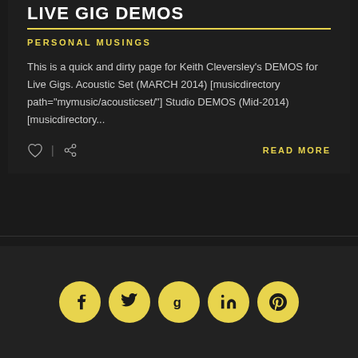LIVE GIG DEMOS
PERSONAL MUSINGS
This is a quick and dirty page for Keith Cleversley's DEMOS for Live Gigs. Acoustic Set (MARCH 2014) [musicdirectory path="mymusic/acousticset/"] Studio DEMOS (Mid-2014) [musicdirectory...
READ MORE
[Figure (infographic): Row of five yellow circular social media icon buttons: Facebook (f), Twitter (bird), Google+ (g), LinkedIn (in), Pinterest (p)]